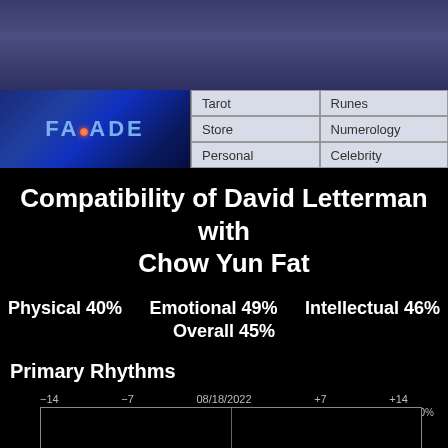[Figure (screenshot): Dark blue gradient banner at top of page]
[Figure (logo): FACADE logo with glowing red dot on blue gradient background]
Compatibility of David Letterman with Chow Yun Fat
Physical 40%   Emotional 49%   Intellectual 46%   Overall 45%
Primary Rhythms
[Figure (continuous-plot): Biorhythm chart showing primary rhythms timeline from -14 to +14 days around 08/18/2022, with +100% label. Chart has center divider line and outer border.]